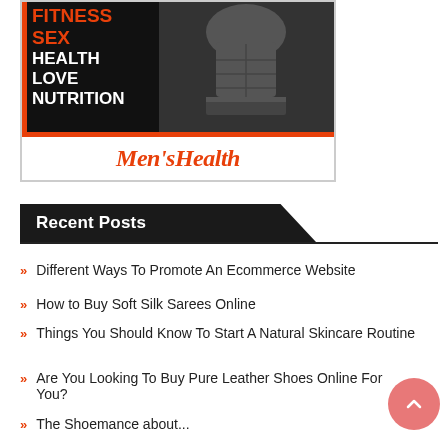[Figure (advertisement): Men's Health magazine advertisement showing a muscular torso with text FITNESS, SEX, HEALTH, LOVE, NUTRITION and the Men's Health logo in orange on white background below.]
Recent Posts
Different Ways To Promote An Ecommerce Website
How to Buy Soft Silk Sarees Online
Things You Should Know To Start A Natural Skincare Routine
Are You Looking To Buy Pure Leather Shoes Online For You?
The Shoemance about...